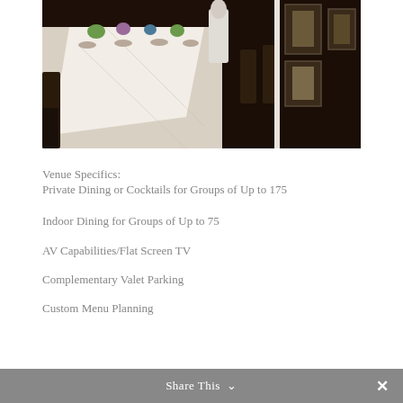[Figure (photo): Interior shot of a private dining room with a long table set with white tablecloth, place settings, floral centerpieces, dark wood chairs, and framed artwork on the wall]
Venue Specifics:
Private Dining or Cocktails for Groups of Up to 175
Indoor Dining for Groups of Up to 75
AV Capabilities/Flat Screen TV
Complementary Valet Parking
Custom Menu Planning
Share This ∨  ✕